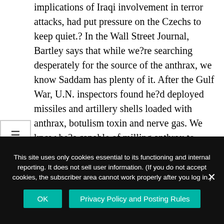implications of Iraqi involvement in terror attacks, had put pressure on the Czechs to keep quiet.? In the Wall Street Journal, Bartley says that while we?re searching desperately for the source of the anthrax, we know Saddam has plenty of it. After the Gulf War, U.N. inspectors found he?d deployed missiles and artillery shells loaded with anthrax, botulism toxin and nerve gas. We know he?s capable of milling anthrax to military grade and eliminating its electrostatic charge. U.N. inspector Richard Butler recently said, ?I concluded that biological weapons are closest to President Hussein?s heart because it was in this area that his resistance to our work reached its height. He seemed to think killing
This site uses only cookies essential to its functioning and internal reporting. It does not sell user information. (If you do not accept cookies, the subscriber area cannot work properly after you log in.)